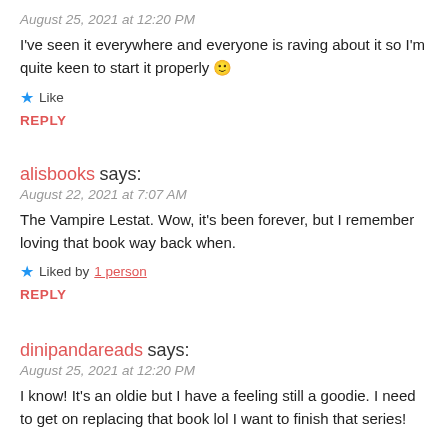August 25, 2021 at 12:20 PM
I've seen it everywhere and everyone is raving about it so I'm quite keen to start it properly 🙂
★ Like
REPLY
alisbooks says:
August 22, 2021 at 7:07 AM
The Vampire Lestat. Wow, it's been forever, but I remember loving that book way back when.
★ Liked by 1 person
REPLY
dinipandareads says:
August 25, 2021 at 12:20 PM
I know! It's an oldie but I have a feeling still a goodie. I need to get on replacing that book lol I want to finish that series!